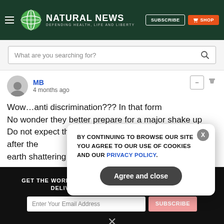NATURAL NEWS — DEFENDING HEALTH, LIFE AND LIBERTY
What are you searching for?
MB
4 months ago
Wow…anti discrimination??? In that form
No wonder they better prepare for a major shake up
Do not expect the rest to help you during your trials after the earth shattering jolts coming
GET THE WORLD'S BEST NATURAL HEALTH NEWSLETTER DELIVERED STRAIGHT TO YOUR INBOX
BY CONTINUING TO BROWSE OUR SITE YOU AGREE TO OUR USE OF COOKIES AND OUR PRIVACY POLICY.
Agree and close